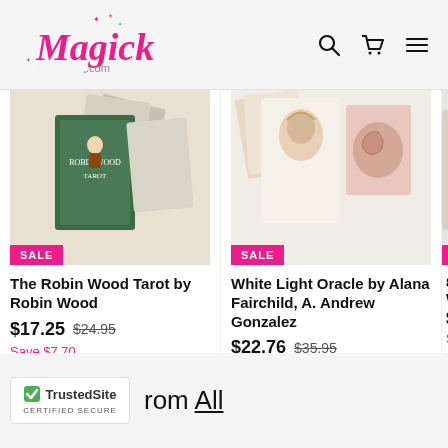[Figure (logo): Magick.com logo in pink cursive script with decorative stars in pink, teal, and purple]
[Figure (infographic): Navigation icons: search magnifying glass, shopping cart, and hamburger menu]
[Figure (photo): The Robin Wood Tarot deck product image showing multiple tarot cards fanned out with SALE badge]
The Robin Wood Tarot by Robin Wood
$17.25  $24.95  Save $7.70
[Figure (photo): White Light Oracle deck product image showing oracle cards with ethereal imagery and SALE badge]
White Light Oracle by Alana Fairchild, A. Andrew Gonzalez
$22.76  $35.95  Save $13.19
[Figure (photo): Third product partially visible with SALE badge, title begins with 8" Ma White]
8" Ma White
$4.53  Save $
[Figure (logo): TrustedSite Certified Secure badge with green checkmark]
rom All